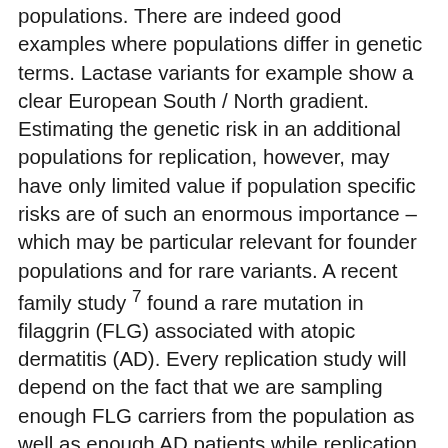populations. There are indeed good examples where populations differ in genetic terms. Lactase variants for example show a clear European South / North gradient. Estimating the genetic risk in an additional populations for replication, however, may have only limited value if population specific risks are of such an enormous importance – which may be particular relevant for founder populations and for rare variants. A recent family study 7 found a rare mutation in filaggrin (FLG) associated with atopic dermatitis (AD). Every replication study will depend on the fact that we are sampling enough FLG carriers from the population as well as enough AD patients while replication would fail in black-skinned AD patients (where FLG variants are absent). Non-replication therefore does not necessarily refute a true association while on the other hand replication in a further sample does not sort out a biological